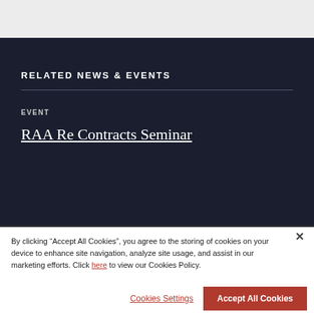RELATED NEWS & EVENTS
EVENT
RAA Re Contracts Seminar
By clicking “Accept All Cookies”, you agree to the storing of cookies on your device to enhance site navigation, analyze site usage, and assist in our marketing efforts. Click here to view our Cookies Policy.
Cookies Settings
Accept All Cookies